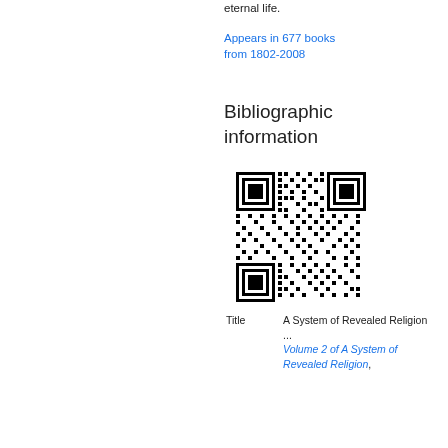eternal life.
Appears in 677 books from 1802-2008
Bibliographic information
[Figure (other): QR code for bibliographic information]
| Title | A System of Revealed Religion ...
Volume 2 of A System of Revealed Religion, |